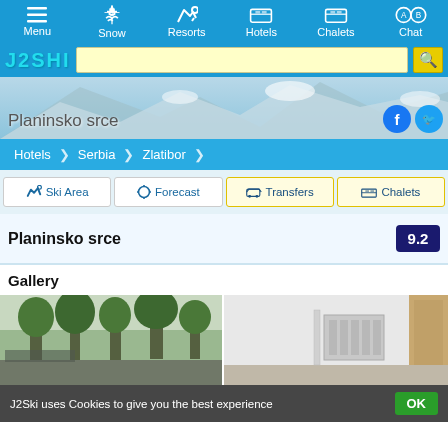Menu  Snow  Resorts  Hotels  Chalets  Chat
[Figure (screenshot): J2Ski logo and search bar with yellow search button]
[Figure (photo): Snowy mountain hero banner with text Planinsko srce and Facebook/Twitter social icons]
Hotels > Serbia > Zlatibor
Ski Area  Forecast  Transfers  Chalets
Planinsko srce  9.2
Gallery
[Figure (photo): Two gallery photos of Planinsko srce hotel - left shows exterior with trees, right shows interior room]
J2Ski uses Cookies to give you the best experience  OK